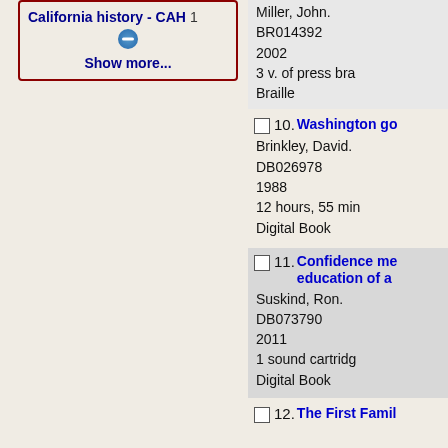California history - CAH 1
Show more...
10. Washington go... Brinkley, David. DB026978 1988 12 hours, 55 min Digital Book
11. Confidence me... education of a... Suskind, Ron. DB073790 2011 1 sound cartridg Digital Book
12. The First Famil...